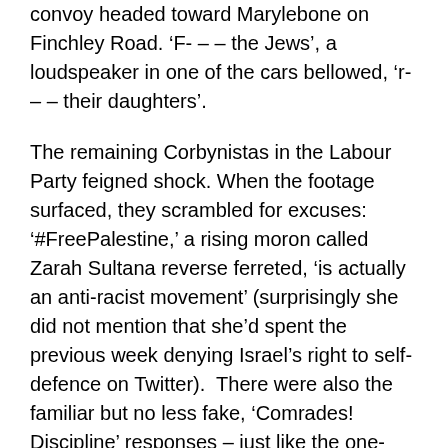convoy headed toward Marylebone on Finchley Road. ‘F- – – the Jews’, a loudspeaker in one of the cars bellowed, ‘r- – – their daughters’.
The remaining Corbynistas in the Labour Party feigned shock. When the footage surfaced, they scrambled for excuses: ‘#FreePalestine,’ a rising moron called Zarah Sultana reverse ferreted, ‘is actually an anti-racist movement’ (surprisingly she did not mention that she’d spent the previous week denying Israel’s right to self-defence on Twitter).  There were also the familiar but no less fake, ‘Comrades! Discipline’ responses – just like the one-armed Kebby Maphatsoe used to shout at smoked-up, breakdancing MKMVA members protesting outside Luthuli House.